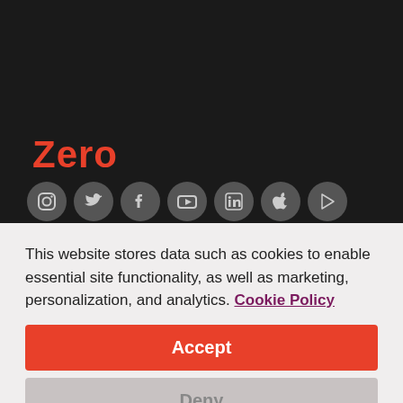Zero
[Figure (illustration): Row of 7 social media icon circles (Instagram, Twitter, Facebook, YouTube, LinkedIn, Apple, Google Play) in dark gray on a dark background]
This website stores data such as cookies to enable essential site functionality, as well as marketing, personalization, and analytics. Cookie Policy
Accept
Deny